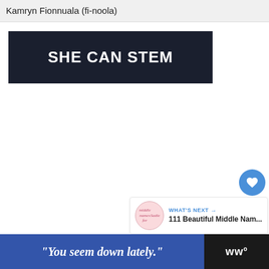Kamryn Fionnuala (fi-noola)
[Figure (screenshot): SHE CAN STEM banner image — white bold text on dark navy/black background reading 'SHE CAN STEM']
1
WHAT'S NEXT → 111 Beautiful Middle Nam...
"You seem down lately."